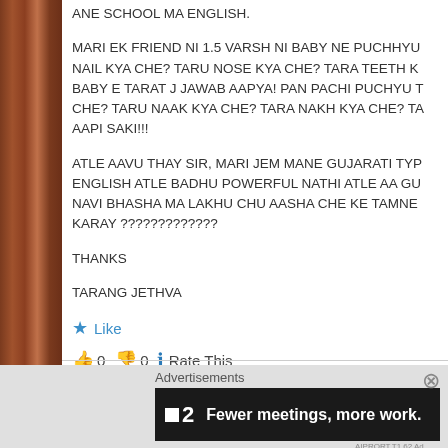ANE SCHOOL MA ENGLISH.
MARI EK FRIEND NI 1.5 VARSH NI BABY NE PUCHHYU NAIL KYA CHE? TARU NOSE KYA CHE? TARA TEETH K BABY E TARAT J JAWAB AAPYA! PAN PACHI PUCHYU T CHE? TARU NAAK KYA CHE? TARA NAKH KYA CHE? TA AAPI SAKI!!!
ATLE AAVU THAY SIR, MARI JEM MANE GUJARATI TYP ENGLISH ATLE BADHU POWERFUL NATHI ATLE AA GU NAVI BHASHA MA LAKHU CHU AASHA CHE KE TAMNE KARAY ?????????????
THANKS
TARANG JETHVA
★ Like
👍 0 👎 0 ℹ Rate This
Advertisements
[Figure (screenshot): Dark advertisement banner reading 'Fewer meetings, more work.' with a logo on the left showing a small square and the number 2]